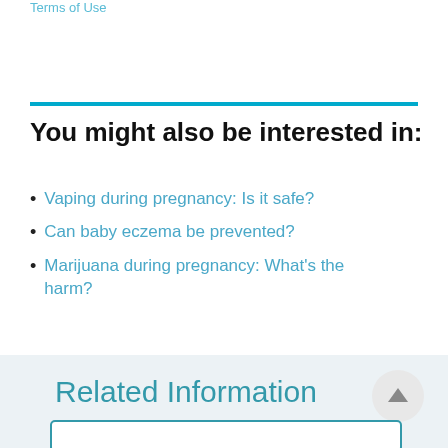Terms of Use
You might also be interested in:
Vaping during pregnancy: Is it safe?
Can baby eczema be prevented?
Marijuana during pregnancy: What's the harm?
Related Information